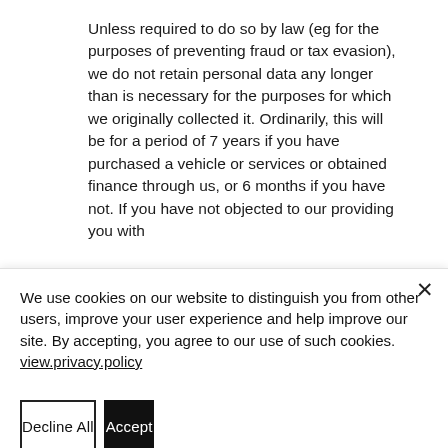Unless required to do so by law (eg for the purposes of preventing fraud or tax evasion), we do not retain personal data any longer than is necessary for the purposes for which we originally collected it. Ordinarily, this will be for a period of 7 years if you have purchased a vehicle or services or obtained finance through us, or 6 months if you have not. If you have not objected to our providing you with
We use cookies on our website to distinguish you from other users, improve your user experience and help improve our site. By accepting, you agree to our use of such cookies. view.privacy.policy
Decline All
Accept
open.settings.button